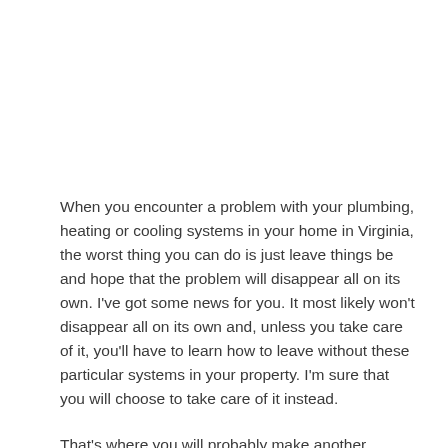When you encounter a problem with your plumbing, heating or cooling systems in your home in Virginia, the worst thing you can do is just leave things be and hope that the problem will disappear all on its own. I've got some news for you. It most likely won't disappear all on its own and, unless you take care of it, you'll have to learn how to leave without these particular systems in your property. I'm sure that you will choose to take care of it instead.
That's where you will probably make another